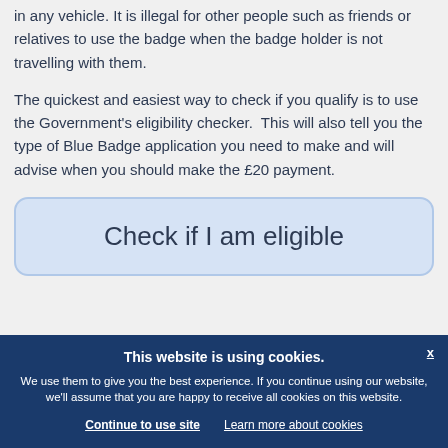in any vehicle. It is illegal for other people such as friends or relatives to use the badge when the badge holder is not travelling with them.
The quickest and easiest way to check if you qualify is to use the Government's eligibility checker.  This will also tell you the type of Blue Badge application you need to make and will advise when you should make the £20 payment.
Check if I am eligible
This website is using cookies. We use them to give you the best experience. If you continue using our website, we'll assume that you are happy to receive all cookies on this website. Continue to use site  Learn more about cookies